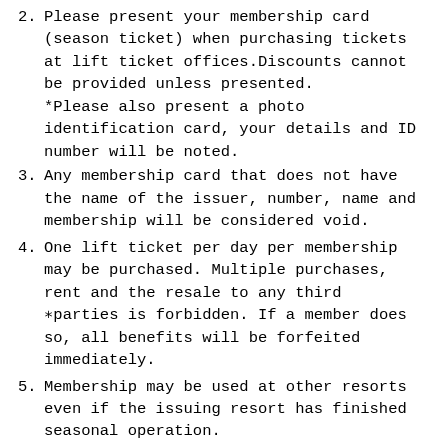2. Please present your membership card (season ticket) when purchasing tickets at lift ticket offices.Discounts cannot be provided unless presented.
*Please also present a photo identification card, your details and ID number will be noted.
3. Any membership card that does not have the name of the issuer, number, name and membership will be considered void.
4. One lift ticket per day per membership may be purchased. Multiple purchases, rent and the resale to any third
*parties is forbidden. If a member does so, all benefits will be forfeited immediately.
5. Membership may be used at other resorts even if the issuing resort has finished seasonal operation.